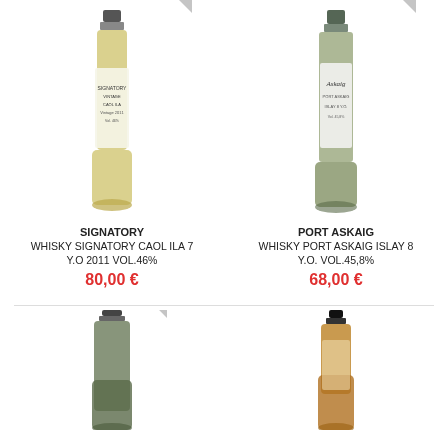[Figure (photo): Whisky bottle - Signatory Caol Ila 7 Y.O 2011 with NON DISPONIBILE ribbon]
SIGNATORY
WHISKY SIGNATORY CAOL ILA 7 Y.O 2011 VOL.46%
80,00 €
[Figure (photo): Whisky bottle - Port Askaig Islay 8 Y.O with NON DISPONIBILE ribbon]
PORT ASKAIG
WHISKY PORT ASKAIG ISLAY 8 Y.O. VOL.45,8%
68,00 €
[Figure (photo): Whisky bottle bottom portion with NON DISPONIBILE ribbon]
[Figure (photo): Whisky bottle bottom portion, amber colored whisky visible]